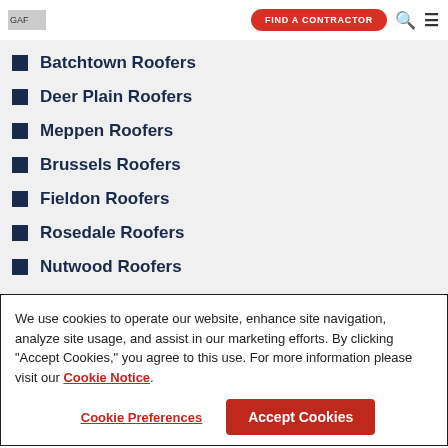GAF | FIND A CONTRACTOR
Batchtown Roofers
Deer Plain Roofers
Meppen Roofers
Brussels Roofers
Fieldon Roofers
Rosedale Roofers
Nutwood Roofers
We use cookies to operate our website, enhance site navigation, analyze site usage, and assist in our marketing efforts. By clicking "Accept Cookies," you agree to this use. For more information please visit our Cookie Notice.
Cookie Preferences | Accept Cookies